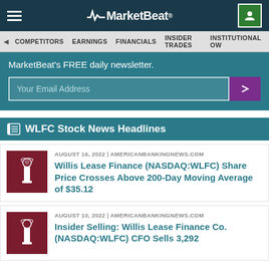MarketBeat
COMPETITORS  EARNINGS  FINANCIALS  INSIDER TRADES  INSTITUTIONAL OW
MarketBeat's FREE daily newsletter.
Your Email Address
WLFC Stock News Headlines
AUGUST 16, 2022 | AMERICANBANKINGNEWS.COM
Willis Lease Finance (NASDAQ:WLFC) Share Price Crosses Above 200-Day Moving Average of $35.12
AUGUST 10, 2022 | AMERICANBANKINGNEWS.COM
Insider Selling: Willis Lease Finance Co. (NASDAQ:WLFC) CFO Sells 3,292